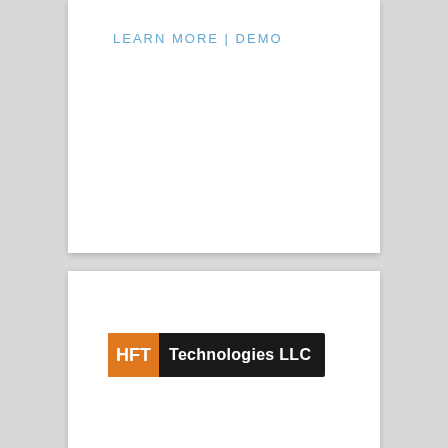LEARN MORE | DEMO
[Figure (logo): HFT Technologies LLC logo — black background with orange HFT badge on left and white text 'Technologies LLC' on right]